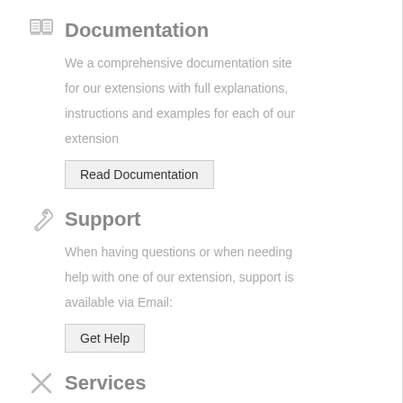Documentation
We a comprehensive documentation site for our extensions with full explanations, instructions and examples for each of our extension
Read Documentation
Support
When having questions or when needing help with one of our extension, support is available via Email:
Get Help
Services
For installation or customization of our extensions, Magento Store maintenance and related software services:
Additional Services